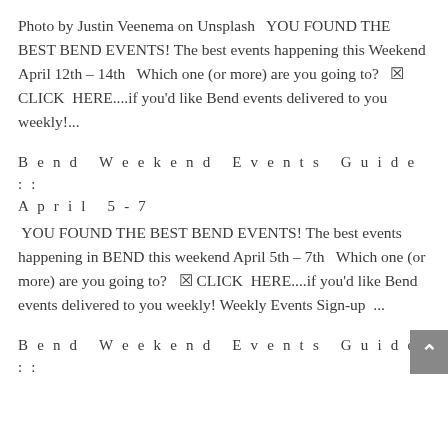Photo by Justin Veenema on Unsplash  YOU FOUND THE BEST BEND EVENTS! The best events happening this Weekend April 12th – 14th  Which one (or more) are you going to?  ✉ CLICK  HERE....if you'd like Bend events delivered to you weekly!...
Bend Weekend Events Guide :: April 5 - 7
YOU FOUND THE BEST BEND EVENTS! The best events happening in BEND this weekend April 5th – 7th  Which one (or more) are you going to?  ✉ CLICK  HERE....if you'd like Bend events delivered to you weekly! Weekly Events Sign-up ...
Bend Weekend Events Guide ::